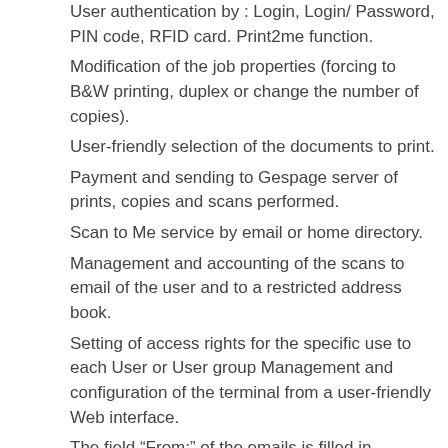User authentication by : Login, Login/ Password, PIN code, RFID card. Print2me function.
Modification of the job properties (forcing to B&W printing, duplex or change the number of copies).
User-friendly selection of the documents to print.
Payment and sending to Gespage server of prints, copies and scans performed.
Scan to Me service by email or home directory.
Management and accounting of the scans to email of the user and to a restricted address book.
Setting of access rights for the specific use to each User or User group Management and configuration of the terminal from a user-friendly Web interface.
The field “From:” of the emails is filled in automatical with the user’s name.
Gespage embedded terminal Ricoh is compatible with all